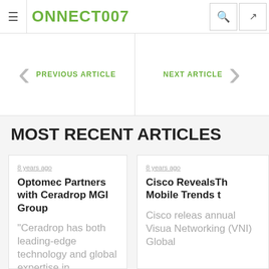CONNECT007
PREVIOUS ARTICLE
NEXT ARTICLE
MOST RECENT ARTICLES
8 years ago
Optomec Partners with Ceradrop MGI Group
“Ceradrop has both leading-edge technology and global expertise in
8 years ago
Cisco RevealsThe Mobile Trends t
Cisco release annual Visua Networking (VNI) Global